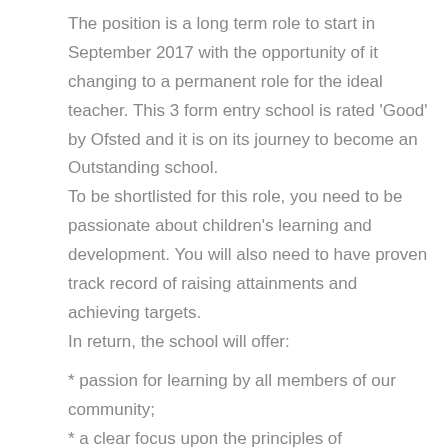The position is a long term role to start in September 2017 with the opportunity of it changing to a permanent role for the ideal teacher. This 3 form entry school is rated 'Good' by Ofsted and it is on its journey to become an Outstanding school.
To be shortlisted for this role, you need to be passionate about children's learning and development. You will also need to have proven track record of raising attainments and achieving targets.
In return, the school will offer:
* passion for learning by all members of our community;
* a clear focus upon the principles of Assessment for Learning;
* strong support for your further professional development,